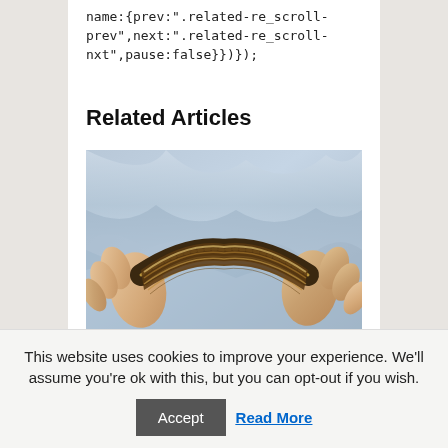name:{prev:".related-re_scroll-prev",next:".related-re_scroll-nxt",pause:false}})});
Related Articles
[Figure (photo): Hands holding a flexible thin-film solar cell or electronic strip, bending it to show flexibility. The material appears dark/amber colored with metallic striping, held against a light blue fabric background.]
This website uses cookies to improve your experience. We'll assume you're ok with this, but you can opt-out if you wish.
Accept  Read More